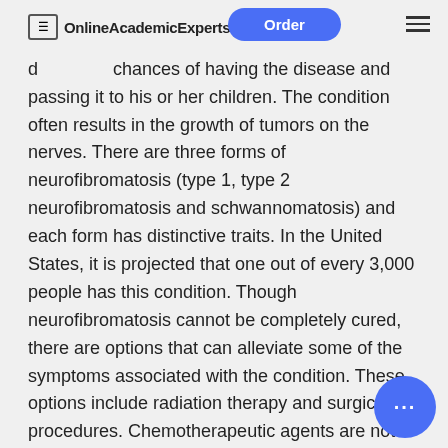OnlineAcademicExperts | Order
of neurofibromatosis elevates the risk of developing the condition. Genetic tests can help d... chances of having the disease and passing it to his or her children. The condition often results in the growth of tumors on the nerves. There are three forms of neurofibromatosis (type 1, type 2 neurofibromatosis and schwannomatosis) and each form has distinctive traits. In the United States, it is projected that one out of every 3,000 people has this condition. Though neurofibromatosis cannot be completely cured, there are options that can alleviate some of the symptoms associated with the condition. These options include radiation therapy and surgical procedures. Chemotherapeutic agents are not frequently used in the management of neurofibromatosis notwithstanding numerous clinical trials that have been undertaken.